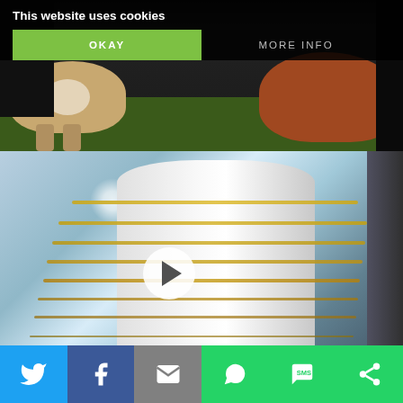[Figure (screenshot): Screenshot of a website showing a cookie consent banner overlay on top of content photos. Top image shows cows/cattle on grass. Below is a video thumbnail showing gold chain jewelry displayed on a white cylinder/display stand with a play button overlay. Bottom has social sharing buttons for Twitter, Facebook, Email, WhatsApp, SMS, and another service. The cookie banner says 'This website uses cookies' with OKAY and MORE INFO buttons.]
This website uses cookies
OKAY
MORE INFO
X